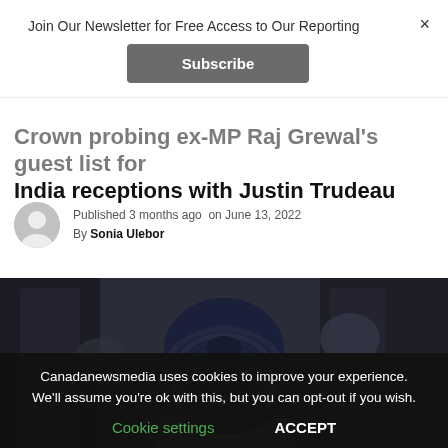Join Our Newsletter for Free Access to Our Reporting
Subscribe
Crown probing ex-MP Raj Grewal's guest list for India receptions with Justin Trudeau
Published 3 months ago on June 13, 2022
By Sonia Ulebor
[Figure (photo): Portrait photo of a man wearing a dark navy turban and beard, photographed outdoors with blurred architectural background]
Canadanewsmedia uses cookies to improve your experience. We'll assume you're ok with this, but you can opt-out if you wish.
Cookie settings   ACCEPT